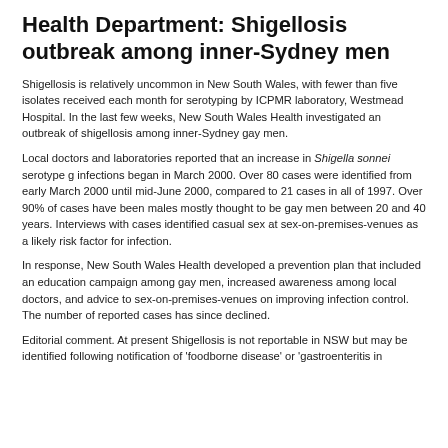Health Department: Shigellosis outbreak among inner-Sydney men
Shigellosis is relatively uncommon in New South Wales, with fewer than five isolates received each month for serotyping by ICPMR laboratory, Westmead Hospital. In the last few weeks, New South Wales Health investigated an outbreak of shigellosis among inner-Sydney gay men.
Local doctors and laboratories reported that an increase in Shigella sonnei serotype g infections began in March 2000. Over 80 cases were identified from early March 2000 until mid-June 2000, compared to 21 cases in all of 1997. Over 90% of cases have been males mostly thought to be gay men between 20 and 40 years. Interviews with cases identified casual sex at sex-on-premises-venues as a likely risk factor for infection.
In response, New South Wales Health developed a prevention plan that included an education campaign among gay men, increased awareness among local doctors, and advice to sex-on-premises-venues on improving infection control. The number of reported cases has since declined.
Editorial comment. At present Shigellosis is not reportable in NSW but may be identified following notification of 'foodborne disease' or 'gastroenteritis in